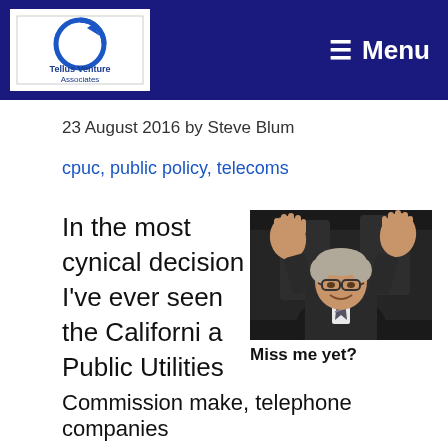Tellus Venture Associates — Menu
23 August 2016 by Steve Blum
cpuc, public policy, telecoms
In the most cynical decision I've ever seen the California Public Utilities Commission make, telephone companies
[Figure (photo): Older man with glasses raising both hands, wearing a dark suit and striped tie, seated in a dark background setting]
Miss me yet?